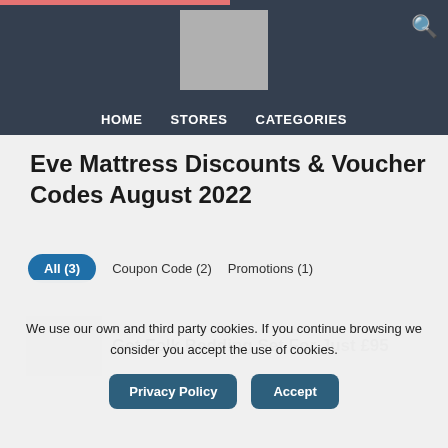HOME  STORES  CATEGORIES
Eve Mattress Discounts & Voucher Codes August 2022
All (3)
Coupon Code (2)
Promotions (1)
Get Folk Bedding Set For Just £95
We use our own and third party cookies. If you continue browsing we consider you accept the use of cookies.
Privacy Policy   Accept